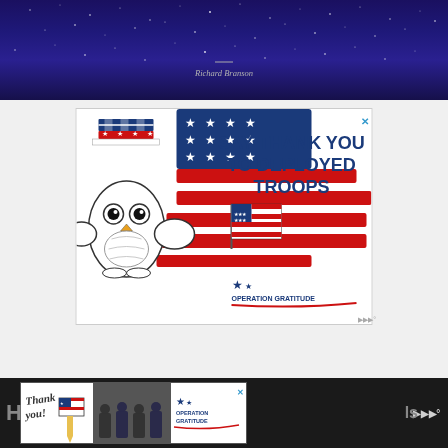[Figure (photo): Dark starry night sky background image with a short dash line and the attribution 'Richard Branson' in italic text centered below]
Richard Branson
[Figure (illustration): Operation Gratitude advertisement: cartoon owl holding an American flag, wearing an Uncle Sam hat, with red/white/blue American flag brushstroke background, text 'SAY THANK YOU TO DEPLOYED TROOPS', Operation Gratitude logo at bottom right]
[Figure (photo): Bottom banner advertisement for Operation Gratitude showing 'Thank you!' handwritten text with American flag pencil, photo of firefighters/first responders, and Operation Gratitude logo on right side]